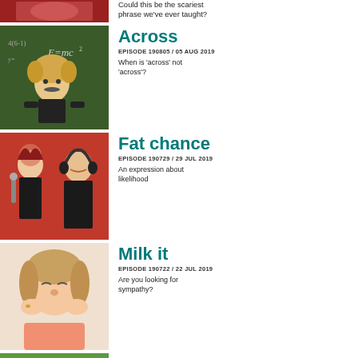[Figure (photo): Partial top image showing a person in red]
Could this be the scariest phrase we've ever taught?
[Figure (photo): Child dressed as Einstein in front of chalkboard with E=mc2]
Across
EPISODE 190805 / 05 AUG 2019
When is 'across' not 'across'?
[Figure (photo): Woman singing into microphone and man with headphones on red background]
Fat chance
EPISODE 190729 / 29 JUL 2019
An expression about likelihood
[Figure (photo): Woman crying or covering ears]
Milk it
EPISODE 190722 / 22 JUL 2019
Are you looking for sympathy?
[Figure (photo): Partial bottom image, outdoor/green scene]